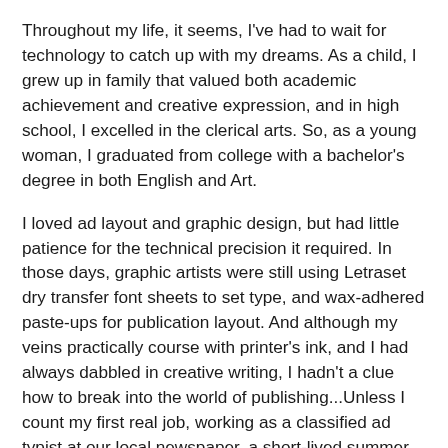Throughout my life, it seems, I've had to wait for technology to catch up with my dreams. As a child, I grew up in family that valued both academic achievement and creative expression, and in high school, I excelled in the clerical arts. So, as a young woman, I graduated from college with a bachelor's degree in both English and Art.
I loved ad layout and graphic design, but had little patience for the technical precision it required. In those days, graphic artists were still using Letraset dry transfer font sheets to set type, and wax-adhered paste-ups for publication layout. And although my veins practically course with printer's ink, and I had always dabbled in creative writing, I hadn't a clue how to break into the world of publishing...Unless I count my first real job, working as a classified ad typist at our local newspaper, a short-lived summer job that never segued into the editorial department.